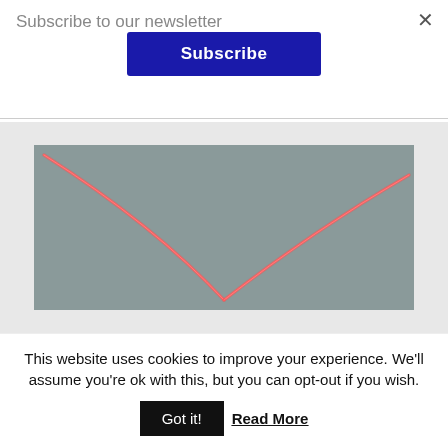Subscribe to our newsletter
Subscribe
×
[Figure (photo): Artwork photograph showing two curved neon pink/red light streaks forming a V-shape or chevron against a grey background]
This website uses cookies to improve your experience. We'll assume you're ok with this, but you can opt-out if you wish.
Got it!  Read More